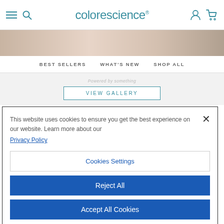colorescience
BEST SELLERS   WHAT'S NEW   SHOP ALL
VIEW GALLERY
This website uses cookies to ensure you get the best experience on our website. Learn more about our Privacy Policy
Cookies Settings
Reject All
Accept All Cookies